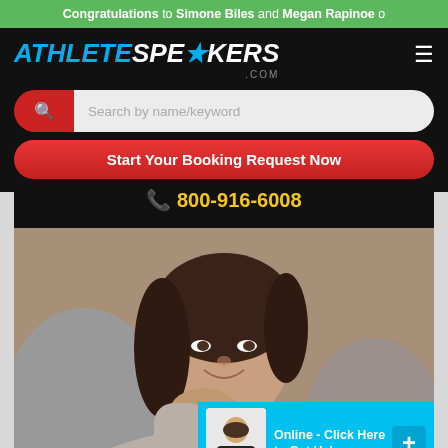Congratulations to Simone Biles and Megan Rapinoe o
[Figure (logo): AthleteSpeakers.com logo in cyan and white italic text on black background]
[Figure (screenshot): Search bar with red icon box and light gray input placeholder 'Search by name/keyword']
Start Your Booking Request Now
800-916-6008
[Figure (photo): Woman with dark hair resting chin on hand, smiling, wearing gray top, sitting at a desk]
Online - Click Here to Get Help